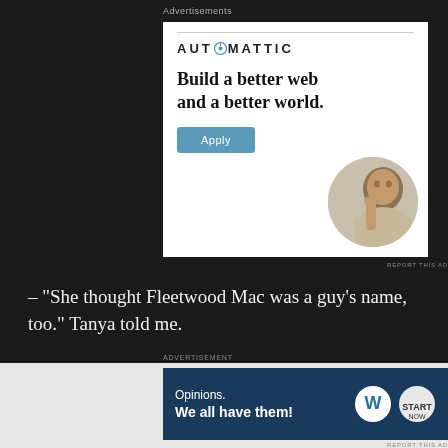Advertisements
[Figure (screenshot): Automattic advertisement banner: logo with blue compass O icon, headline 'Build a better web and a better world.', blue Apply button, circular photo of a man thinking]
REPORT THIS AD
– “She thought Fleetwood Mac was a guy’s name, too.” Tanya told me.
ADVERTISEMENT
[Figure (screenshot): WordPress.com advertisement: dark navy background, text 'Opinions. We all have them!' with WordPress and blog icons]
REPORT THIS AD